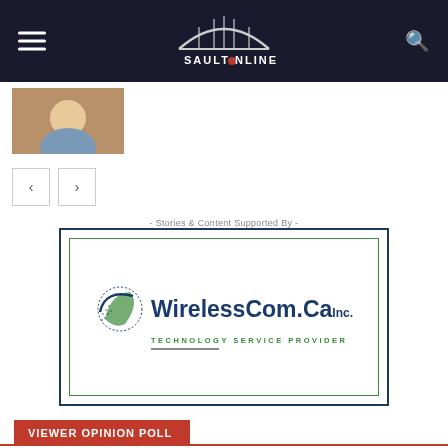SaultOnline header with hamburger menu and search icon
[Figure (photo): Small thumbnail photo of a person, partial view]
[Figure (other): Navigation previous and next arrow buttons]
- Stories & Content Supported By -
[Figure (logo): WirelessCom.Ca Inc. Technology Service Provider advertisement logo inside double-bordered box]
VIEWER OPINION POLL
Are you in favour of the Mayor and Council's